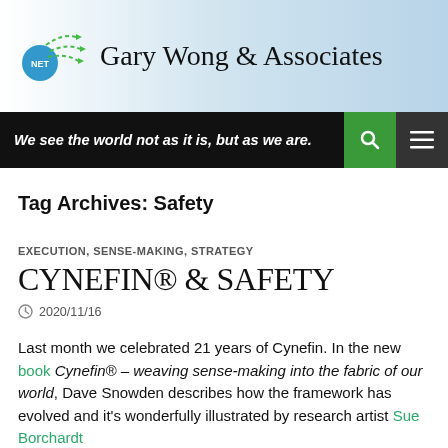[Figure (logo): Gary Wong & Associates logo with blue circle and green arrows, site name in serif font]
We see the world not as it is, but as we are.
Tag Archives: Safety
EXECUTION, SENSE-MAKING, STRATEGY
CYNEFIN® & SAFETY
2020/11/16
Last month we celebrated 21 years of Cynefin. In the new book Cynefin® – weaving sense-making into the fabric of our world, Dave Snowden describes how the framework has evolved and it's wonderfully illustrated by research artist Sue Borchardt.